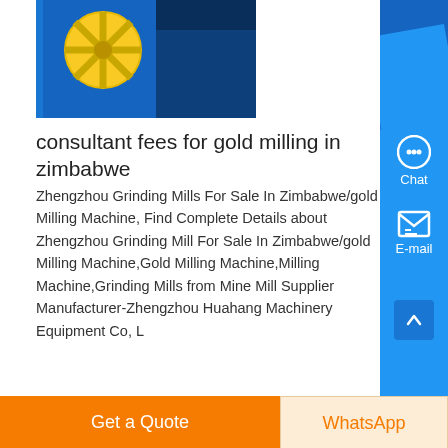[Figure (photo): Industrial grinding mill machine with yellow flywheel on blue body, partially visible at top of page]
consultant fees for gold milling in zimbabwe
Zhengzhou Grinding Mills For Sale In Zimbabwe/gold Milling Machine, Find Complete Details about Zhengzhou Grinding Mills For Sale In Zimbabwe/gold Milling Machine,Gold Milling Machine,Milling Machine,Grinding Mills from Mine Mill Supplier Manufacturer-Zhengzhou Huahang Machinery Equipment Co, L
Know More
[Figure (photo): Industrial cylindrical grinding mill machine in factory setting, gray metallic surface with bolts visible]
Get a Quote
WhatsApp